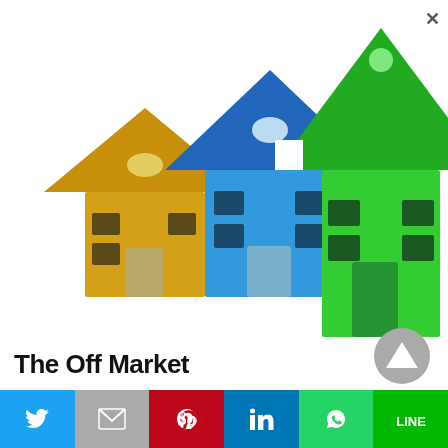[Figure (illustration): Three house icons of increasing size from left to right: a small yellow house, a medium blue house, and a large green house-shaped arrow pointing upward, representing a growing real estate market.]
The Off Market
[Figure (infographic): Social sharing bar with icons for Twitter (blue), Gmail (gray), Pinterest (red), LinkedIn (blue), WhatsApp (green), and Line (dark green). Also a gray circular play/up-arrow button on the right side.]